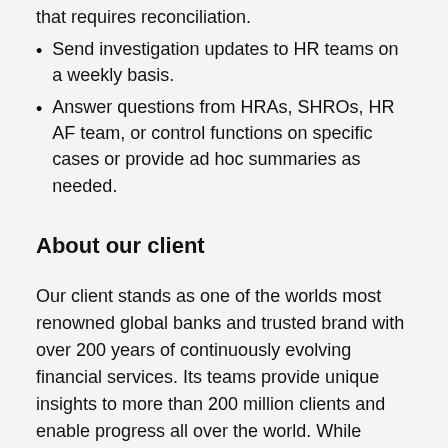that requires reconciliation.
Send investigation updates to HR teams on a weekly basis.
Answer questions from HRAs, SHROs, HR AF team, or control functions on specific cases or provide ad hoc summaries as needed.
About our client
Our client stands as one of the worlds most renowned global banks and trusted brand with over 200 years of continuously evolving financial services. Its teams provide unique insights to more than 200 million clients and enable progress all over the world. While growing your career, you will work alongside some of the smartest minds in the